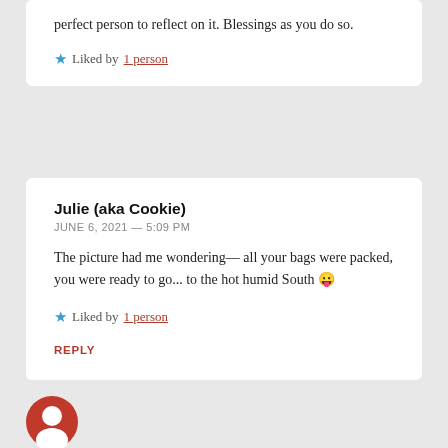perfect person to reflect on it. Blessings as you do so.
★ Liked by 1 person
Julie (aka Cookie)
JUNE 6, 2021 — 5:09 PM
The picture had me wondering— all your bags were packed, you were ready to go... to the hot humid South 😛
★ Liked by 1 person
REPLY